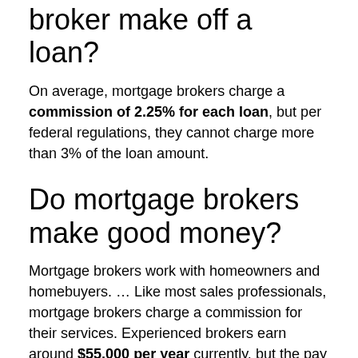broker make off a loan?
On average, mortgage brokers charge a commission of 2.25% for each loan, but per federal regulations, they cannot charge more than 3% of the loan amount.
Do mortgage brokers make good money?
Mortgage brokers work with homeowners and homebuyers. … Like most sales professionals, mortgage brokers charge a commission for their services. Experienced brokers earn around $55,000 per year currently, but the pay scale rises above six figures for people who are truly dedicated to their trade.